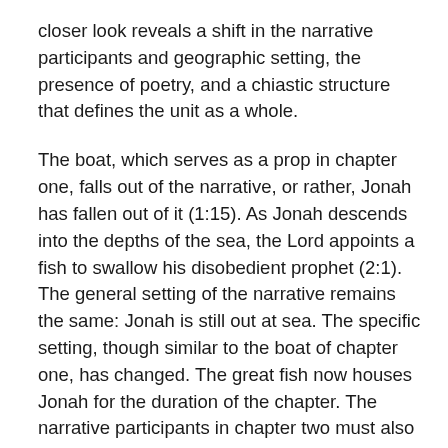closer look reveals a shift in the narrative participants and geographic setting, the presence of poetry, and a chiastic structure that defines the unit as a whole.
The boat, which serves as a prop in chapter one, falls out of the narrative, or rather, Jonah has fallen out of it (1:15). As Jonah descends into the depths of the sea, the Lord appoints a fish to swallow his disobedient prophet (2:1). The general setting of the narrative remains the same: Jonah is still out at sea. The specific setting, though similar to the boat of chapter one, has changed. The great fish now houses Jonah for the duration of the chapter. The narrative participants in chapter two must also be noted. While two of the characters, Jonah and the Lord, remain unchanged, the sailors are absent. The narrator is now concerned with Jonah's interaction with the Lord. Will